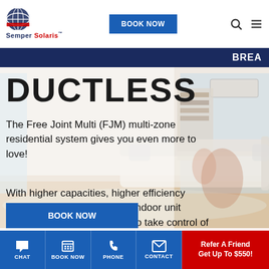Semper Solaris | BOOK NOW
DUCTLESS
The Free Joint Multi (FJM) multi-zone residential system gives you even more to love!
With higher capacities, higher efficiency ratings, and five compatible indoor unit options, you get more ways to take control of your comfort.
[Figure (photo): Family sitting on living room floor, background with sofa and ductless AC unit on wall]
CHAT | BOOK NOW | PHONE | CONTACT | Refer A Friend Get Up To $550!